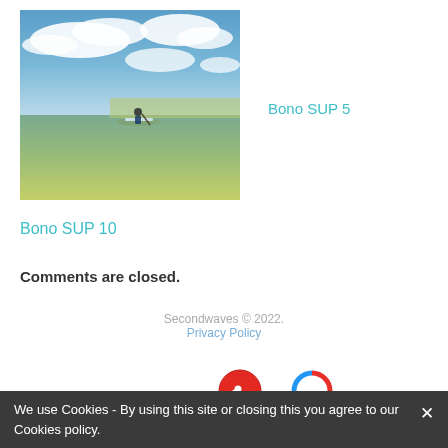[Figure (photo): Person paddle boarding on water near a beach with blue sky and clouds in the background]
Bono SUP 5
Bono SUP 10
Comments are closed.
Secondwaves © 2022.
Privacy Policy
Escuela Oficial:
[Figure (logo): FESURFING logo - red circle with surfer silhouette]
[Figure (logo): Grados de Educacion Deportiva logo - colorful circle]
We use Cookies - By using this site or closing this you agree to our Cookies policy.